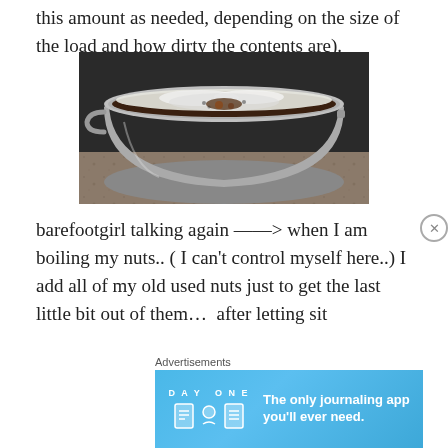this amount as needed, depending on the size of the load and how dirty the contents are).
[Figure (photo): A stainless steel pot filled with boiling liquid that has white foam on top and dark brown liquid/debris visible beneath the foam, sitting on a granite countertop.]
barefootgirl talking again —> when I am boiling my nuts.. ( I can't control myself here..) I add all of my old used nuts just to get the last little bit out of them...  after letting sit
Advertisements
[Figure (screenshot): Day One journaling app advertisement banner with blue background. Shows 'DAY ONE' text with icons and the tagline 'The only journaling app you'll ever need.']